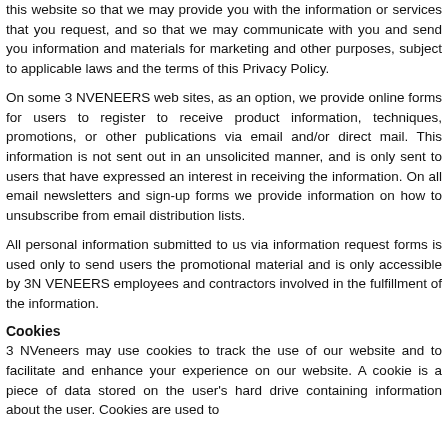this website so that we may provide you with the information or services that you request, and so that we may communicate with you and send you information and materials for marketing and other purposes, subject to applicable laws and the terms of this Privacy Policy.
On some 3 NVENEERS web sites, as an option, we provide online forms for users to register to receive product information, techniques, promotions, or other publications via email and/or direct mail. This information is not sent out in an unsolicited manner, and is only sent to users that have expressed an interest in receiving the information. On all email newsletters and sign-up forms we provide information on how to unsubscribe from email distribution lists.
All personal information submitted to us via information request forms is used only to send users the promotional material and is only accessible by 3N VENEERS employees and contractors involved in the fulfillment of the information.
Cookies
3 NVeneers may use cookies to track the use of our website and to facilitate and enhance your experience on our website. A cookie is a piece of data stored on the user's hard drive containing information about the user. Cookies are used to